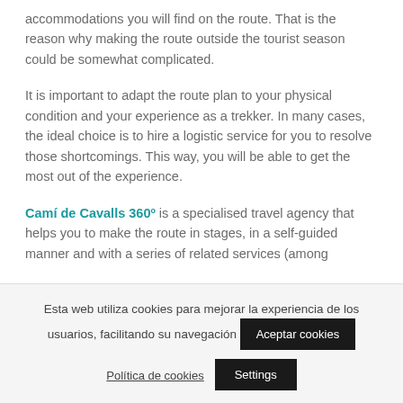accommodations you will find on the route. That is the reason why making the route outside the tourist season could be somewhat complicated.
It is important to adapt the route plan to your physical condition and your experience as a trekker. In many cases, the ideal choice is to hire a logistic service for you to resolve those shortcomings. This way, you will be able to get the most out of the experience.
Camí de Cavalls 360º is a specialised travel agency that helps you to make the route in stages, in a self-guided manner and with a series of related services (among
Esta web utiliza cookies para mejorar la experiencia de los usuarios, facilitando su navegación
Aceptar cookies
Política de cookies
Settings